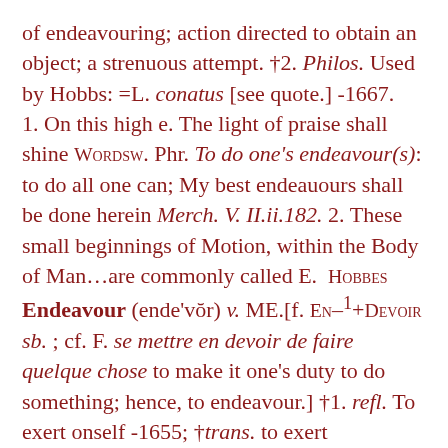of endeavouring; action directed to obtain an object; a strenuous attempt. †2. Philos. Used by Hobbs: =L. conatus [see quote.] -1667.
1. On this high e. The light of praise shall shine WORDSW. Phr. To do one's endeavour(s): to do all one can; My best endeauours shall be done herein Merch. V. II.ii.182. 2. These small beginnings of Motion, within the Body of Man…are commonly called E.  HOBBES
Endeavour (ende'vŏr) v. ME.[f. EN–¹+DEVOIR sb. ; cf. F. se mettre en devoir de faire quelque chose to make it one's duty to do something; hence, to endeavour.] †1. refl. To exert onself -1655; †trans. to exert